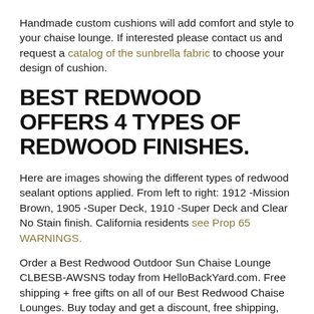Handmade custom cushions will add comfort and style to your chaise lounge. If interested please contact us and request a catalog of the sunbrella fabric to choose your design of cushion.
BEST REDWOOD OFFERS 4 TYPES OF REDWOOD FINISHES.
Here are images showing the different types of redwood sealant options applied. From left to right: 1912 -Mission Brown, 1905 -Super Deck, 1910 -Super Deck and Clear No Stain finish. California residents see Prop 65 WARNINGS.
Order a Best Redwood Outdoor Sun Chaise Lounge CLBESB-AWSNS today from HelloBackYard.com. Free shipping + free gifts on all of our Best Redwood Chaise Lounges. Buy today and get a discount, free shipping, and a free gift!